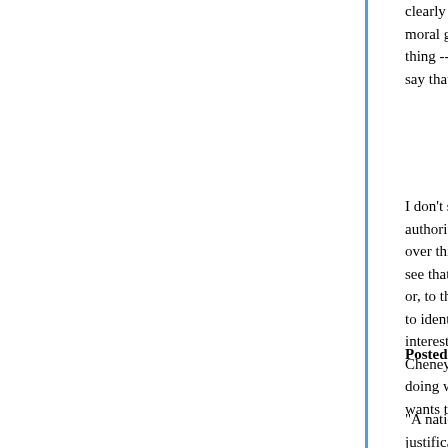clearly against interest, or forbearing from an action on moral grounds. When we truly believe that someone is doing a thing -- a judgment we make based on our assessment -- we say that person/nation has moral authority.
I don't see that the western governments, or China, have moral authority wrt Darfur. (There may be individuals in governments agonizing over this, at some risk to career -- if so, I'd say they do.) I don't see that the US earned any moral authority in its current actions, or, to the evident consternation of the neo-cons, in its past. I challenge you to identify an official act of the current President that was clearly against interest, undertaken for moral grounds. I've seen no evidence that Cheney, or Rove have any belief in morality at all -- that it's anything but doing what they otherwise want to do, or complaining that the other side wants to do, which they do not want done.
Posted by: CharleyCarp | August 31, 2006 at 12:25 PM
"A nation, like a person, doesn't earn moral authority by providing a justification for something in their general interest. It's by taking action clearly against interest, or forbearing from an action on moral grounds. When we truly believe that someone is doing a thing -- a judgment we make based on our assessment --